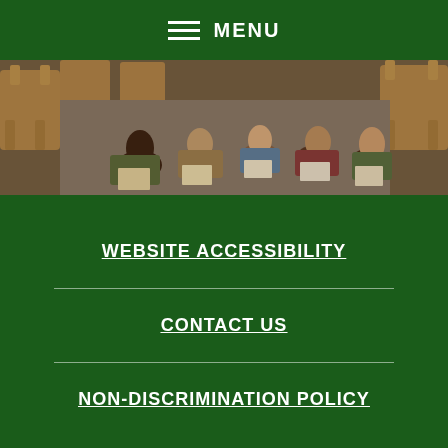MENU
[Figure (photo): Children sitting on the floor of a library reading books, with wooden chairs visible around them]
WEBSITE ACCESSIBILITY
CONTACT US
NON-DISCRIMINATION POLICY